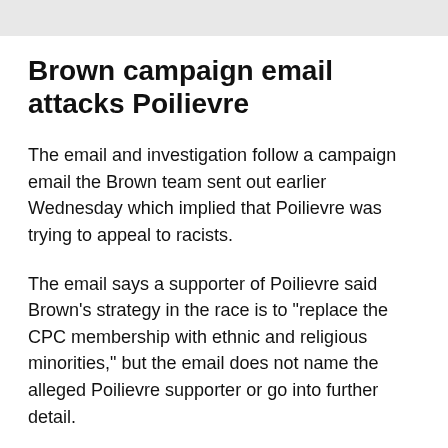Brown campaign email attacks Poilievre
The email and investigation follow a campaign email the Brown team sent out earlier Wednesday which implied that Poilievre was trying to appeal to racists.
The email says a supporter of Poilievre said Brown's strategy in the race is to "replace the CPC membership with ethnic and religious minorities," but the email does not name the alleged Poilievre supporter or go into further detail.
"If that kind of alarming language about "replacing"